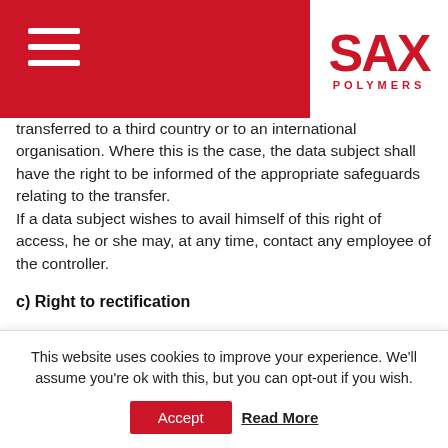SAX POLYMERS
transferred to a third country or to an international organisation. Where this is the case, the data subject shall have the right to be informed of the appropriate safeguards relating to the transfer. If a data subject wishes to avail himself of this right of access, he or she may, at any time, contact any employee of the controller.
c) Right to rectification
Each data subject shall have the right granted by the European legislator to obtain from the controller
This website uses cookies to improve your experience. We'll assume you're ok with this, but you can opt-out if you wish.